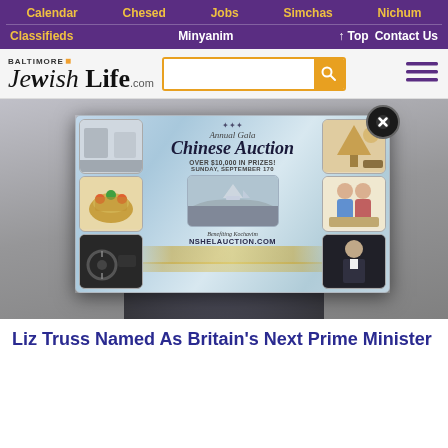Calendar  Chesed  Jobs  Simchas  Nichum
Classifieds  Minyanim  ↑ Top  Contact Us
[Figure (logo): Baltimore Jewish Life .com logo with search bar and hamburger menu]
[Figure (photo): Website screenshot showing a popup advertisement for Annual Gala Chinese Auction over NSHELAUCTION.COM over a blurred background photo of a person]
Liz Truss Named As Britain's Next Prime Minister